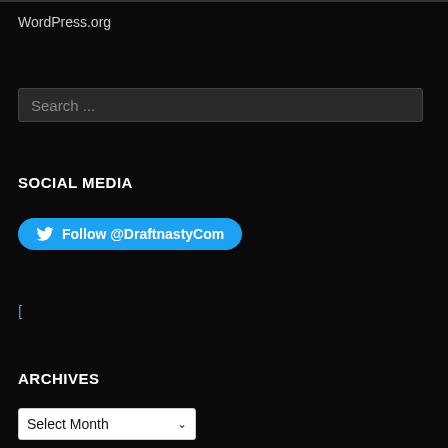WordPress.org
Search ...
SOCIAL MEDIA
Follow @DraftnastyCom
[
ARCHIVES
Select Month